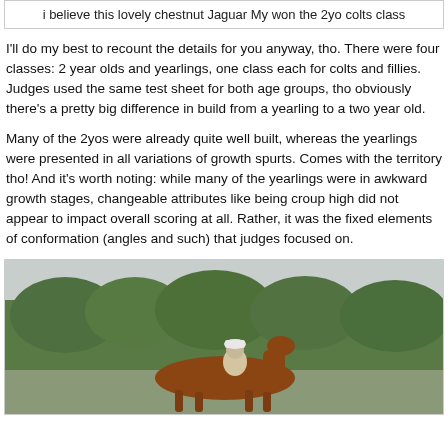i believe this lovely chestnut Jaguar My won the 2yo colts class
I'll do my best to recount the details for you anyway, tho. There were four classes: 2 year olds and yearlings, one class each for colts and fillies. Judges used the same test sheet for both age groups, tho obviously there's a pretty big difference in build from a yearling to a two year old.
Many of the 2yos were already quite well built, whereas the yearlings were presented in all variations of growth spurts. Comes with the territory tho! And it's worth noting: while many of the yearlings were in awkward growth stages, changeable attributes like being croup high did not appear to impact overall scoring at all. Rather, it was the fixed elements of conformation (angles and such) that judges focused on.
[Figure (photo): Outdoor photo of a chestnut horse with a rider/handler, green trees in the background under an overcast sky.]